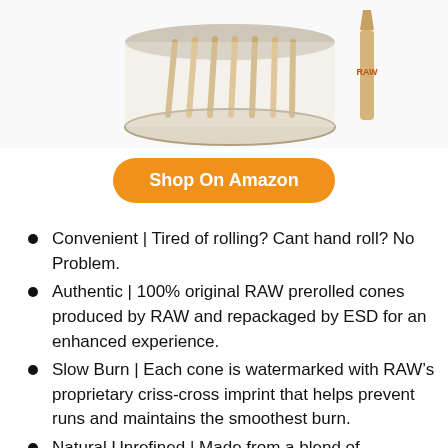[Figure (photo): Product photo of RAW prerolled cones in a clear jar container with a single cone shown separately to the right, viewed from above at slight angle. Cones are beige/natural color.]
Shop On Amazon
Convenient | Tired of rolling? Cant hand roll? No Problem.
Authentic | 100% original RAW prerolled cones produced by RAW and repackaged by ESD for an enhanced experience.
Slow Burn | Each cone is watermarked with RAW’s proprietary criss-cross imprint that helps prevent runs and maintains the smoothest burn.
Natural Unrefined | Made from a blend of unbleached fibers and finished with a natural gum